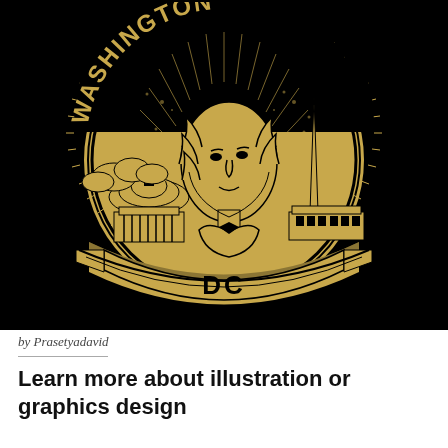[Figure (illustration): Washington DC medallion/coin illustration with golden linework on black background. A central portrait of George Washington with curly hair is flanked by the US Capitol building dome on the left and the Washington Monument with the White House on the right. Radiating sunburst lines emanate from behind the figure. The circular medallion has tick-mark border details. The top arc reads 'WASHINGTON' in bold block letters, and the bottom arc reads 'DC' in bold block letters.]
by Prasetyadavid
Learn more about illustration or graphics design